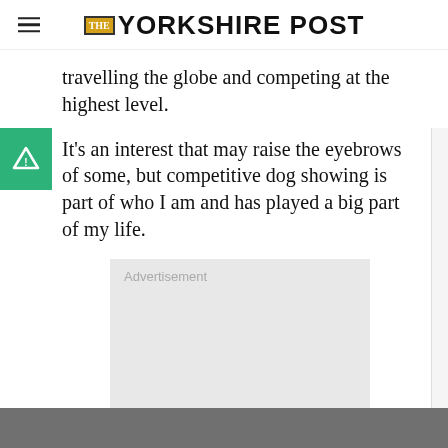THE YORKSHIRE POST
travelling the globe and competing at the highest level.
It’s an interest that may raise the eyebrows of some, but competitive dog showing is part of who I am and has played a big part of my life.
[Figure (other): Advertisement placeholder box with light grey background and 'Advertisement' label text]